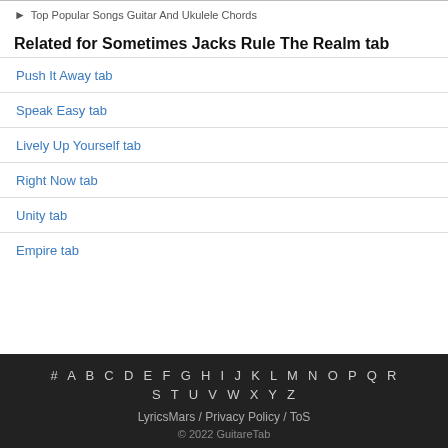Top Popular Songs Guitar And Ukulele Chords
Related for Sometimes Jacks Rule The Realm tab
Push It Away tab
Speak Easy tab
Lively Up Yourself tab
Right Now tab
Unity tab
Empire tab
# A B C D E F G H I J K L M N O P Q R S T U V W X Y Z
LyricsMars / Privacy Policy / ToS
© 2022 GuitareTab